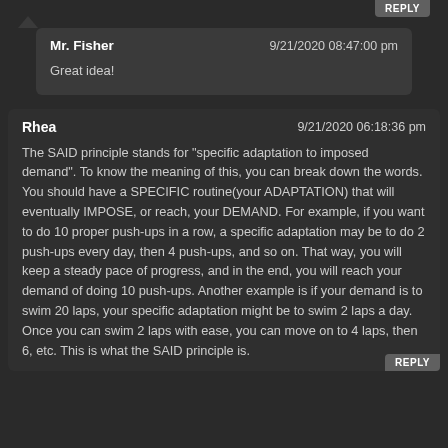Mr. Fisher | 9/21/2020 08:47:00 pm
Great idea!
Rhea | 9/21/2020 06:18:36 pm
The SAID principle stands for "specific adaptation to imposed demand". To know the meaning of this, you can break down the words. You should have a SPECIFIC routine(your ADAPTATION) that will eventually IMPOSE, or reach, your DEMAND. For example, if you want to do 10 proper push-ups in a row, a specific adaptation may be to do 2 push-ups every day, then 4 push-ups, and so on. That way, you will keep a steady pace of progress, and in the end, you will reach your demand of doing 10 push-ups. Another example is if your demand is to swim 20 laps, your specific adaptation might be to swim 2 laps a day. Once you can swim 2 laps with ease, you can move on to 4 laps, then 6, etc. This is what the SAID principle is.